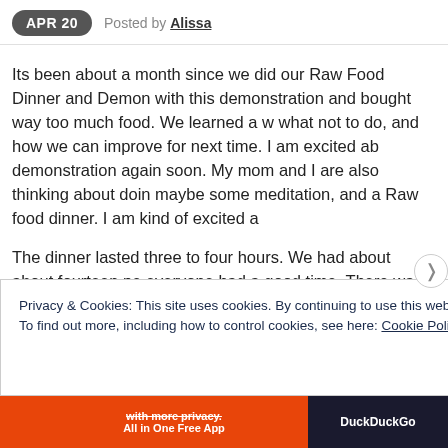APR 20  Posted by Alissa
Its been about a month since we did our Raw Food Dinner and Demon with this demonstration and bought way too much food. We learned a w what not to do, and how we can improve for next time. I am excited ab demonstration again soon. My mom and I are also thinking about doin maybe some meditation, and a Raw food dinner. I am kind of excited a
The dinner lasted three to four hours. We had about about fourteen pe everyone had a good time. There was good food and I think a lot of go answer all of them, but I tried). My goal for this dinner was to teach peo very tasty so that people could start adding more raw food into their die sure I got this across to people. I am not here to convince everyone to healthy as you can for you. The menu was a bit much and next time I w
Privacy & Cookies: This site uses cookies. By continuing to use this website, you agree to their use.
To find out more, including how to control cookies, see here: Cookie Policy
Close and accept